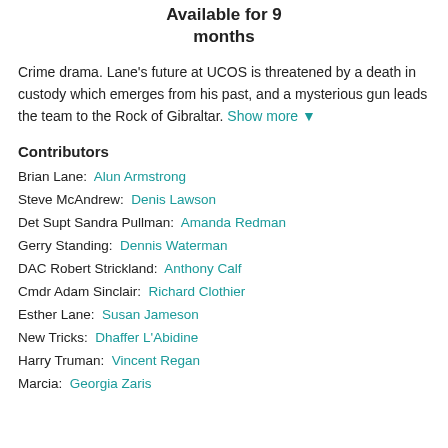Available for 9 months
Crime drama. Lane's future at UCOS is threatened by a death in custody which emerges from his past, and a mysterious gun leads the team to the Rock of Gibraltar. Show more ▼
Contributors
Brian Lane:  Alun Armstrong
Steve McAndrew:  Denis Lawson
Det Supt Sandra Pullman:  Amanda Redman
Gerry Standing:  Dennis Waterman
DAC Robert Strickland:  Anthony Calf
Cmdr Adam Sinclair:  Richard Clothier
Esther Lane:  Susan Jameson
New Tricks:  Dhaffer L'Abidine
Harry Truman:  Vincent Regan
Marcia:  Georgia Zaris